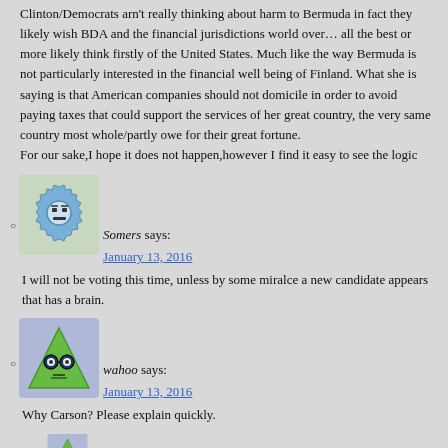Clinton/Democrats arn't really thinking about harm to Bermuda in fact they likely wish BDA and the financial jurisdictions world over… all the best or more likely think firstly of the United States. Much like the way Bermuda is not particularly interested in the financial well being of Finland. What she is saying is that American companies should not domicile in order to avoid paying taxes that could support the services of her great country, the very same country most whole/partly owe for their great fortune.
For our sake,I hope it does not happen,however I find it easy to see the logic
Somers says:
January 13, 2016
I will not be voting this time, unless by some miralce a new candidate appears that has a brain.
wahoo says:
January 13, 2016
Why Carson? Please explain quickly.